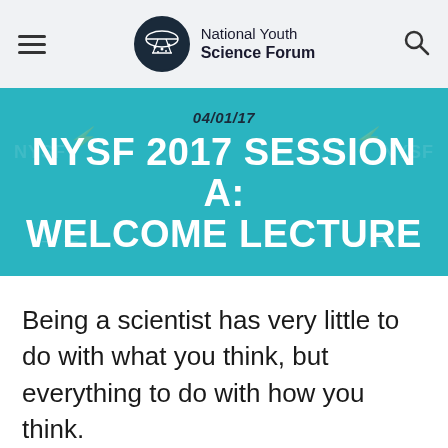National Youth Science Forum
04/01/17
NYSF 2017 SESSION A: WELCOME LECTURE
Being a scientist has very little to do with what you think, but everything to do with how you think.